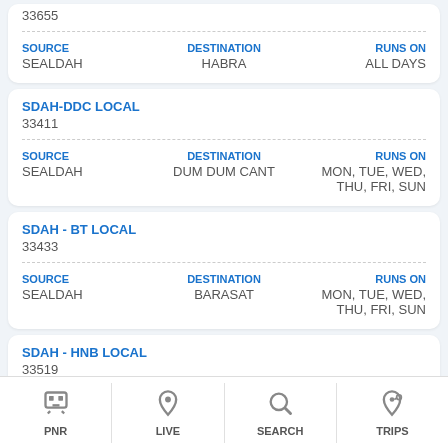33655
| SOURCE | DESTINATION | RUNS ON |
| --- | --- | --- |
| SEALDAH | HABRA | ALL DAYS |
SDAH-DDC LOCAL
33411
| SOURCE | DESTINATION | RUNS ON |
| --- | --- | --- |
| SEALDAH | DUM DUM CANT | MON, TUE, WED, THU, FRI, SUN |
SDAH - BT LOCAL
33433
| SOURCE | DESTINATION | RUNS ON |
| --- | --- | --- |
| SEALDAH | BARASAT | MON, TUE, WED, THU, FRI, SUN |
SDAH - HNB LOCAL
33519
PNR  LIVE  SEARCH  TRIPS